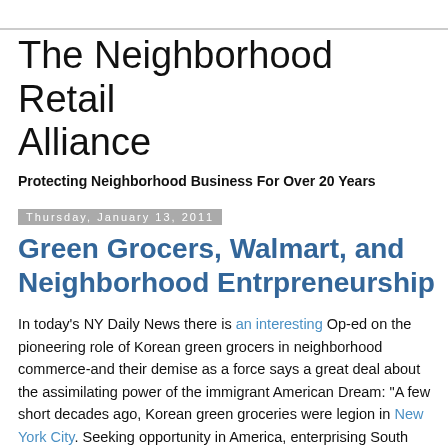The Neighborhood Retail Alliance
Protecting Neighborhood Business For Over 20 Years
Thursday, January 13, 2011
Green Grocers, Walmart, and Neighborhood Entrpreneurship
In today's NY Daily News there is an interesting Op-ed on the pioneering role of Korean green grocers in neighborhood commerce-and their demise as a force says a great deal about the assimilating power of the immigrant American Dream: "A few short decades ago, Korean green groceries were legion in New York City. Seeking opportunity in America, enterprising South Korean immigrants opened up small markets across the city, selling fruit, vegetables, candy, cigarettes and anything else they could fit on their shelves.